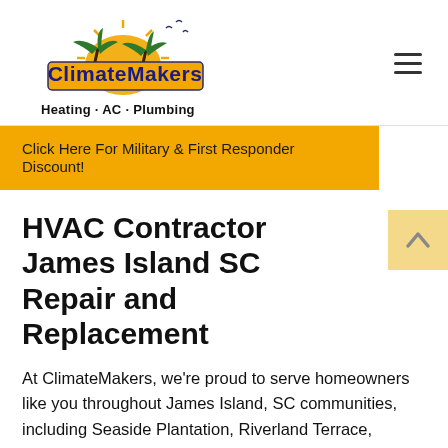[Figure (logo): ClimateMakers logo with palm trees and sun, text 'ClimateMakers' in blue/gold, tagline 'Heating · AC · Plumbing']
Click Here For Military & First Responder Discount!
HVAC Contractor James Island SC Repair and Replacement
At ClimateMakers, we're proud to serve homeowners like you throughout James Island, SC communities, including Seaside Plantation, Riverland Terrace, Queensborough, Woodland Shores, and Parrot Bluff.